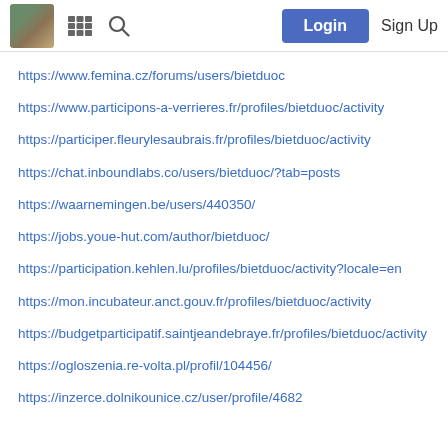Login | Sign Up
https://www.femina.cz/forums/users/bietduoc
https://www.participons-a-verrieres.fr/profiles/bietduoc/activity
https://participer.fleurylesaubrais.fr/profiles/bietduoc/activity
https://chat.inboundlabs.co/users/bietduoc/?tab=posts
https://waarnemingen.be/users/440350/
https://jobs.youe-hut.com/author/bietduoc/
https://participation.kehlen.lu/profiles/bietduoc/activity?locale=en
https://mon.incubateur.anct.gouv.fr/profiles/bietduoc/activity
https://budgetparticipatif.saintjeandebraye.fr/profiles/bietduoc/activity
https://ogloszenia.re-volta.pl/profil/104456/
https://inzerce.dolnikounice.cz/user/profile/4682